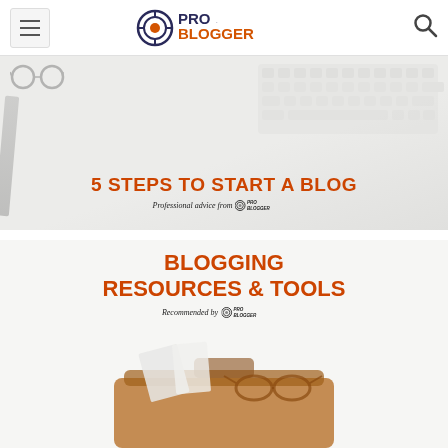ProBlogger
[Figure (illustration): Banner image showing a keyboard on a white desk with text '5 STEPS TO START A BLOG - Professional advice from ProBlogger']
[Figure (illustration): Banner image with text 'BLOGGING RESOURCES & TOOLS - Recommended by ProBlogger' with briefcase and glasses in the lower portion]